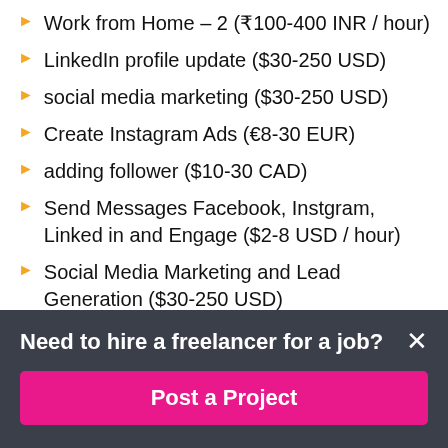Work from Home – 2 (₹100-400 INR / hour)
LinkedIn profile update ($30-250 USD)
social media marketing ($30-250 USD)
Create Instagram Ads (€8-30 EUR)
adding follower ($10-30 CAD)
Send Messages Facebook, Instgram, Linked in and Engage ($2-8 USD / hour)
Social Media Marketing and Lead Generation ($30-250 USD)
I HAVE NEED ANY PERSON WHO GROW MY NEW CHANEL
Need to hire a freelancer for a job?
Post a Project